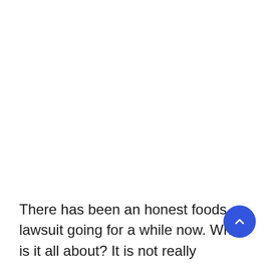There has been an honest foods lawsuit going for a while now. What is it all about? It is not really